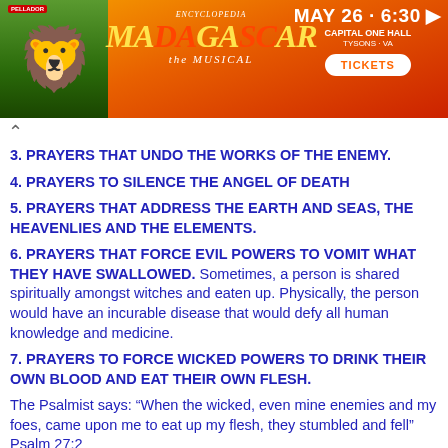[Figure (illustration): Advertisement banner for Madagascar The Musical at Capital One Hall, Tysons VA, May 26 6:30. Shows a lion character and colorful text with TICKETS button.]
3. PRAYERS THAT UNDO THE WORKS OF THE ENEMY.
4. PRAYERS TO SILENCE THE ANGEL OF DEATH
5. PRAYERS THAT ADDRESS THE EARTH AND SEAS, THE HEAVENLIES AND THE ELEMENTS.
6. PRAYERS THAT FORCE EVIL POWERS TO VOMIT WHAT THEY HAVE SWALLOWED. Sometimes, a person is shared spiritually amongst witches and eaten up. Physically, the person would have an incurable disease that would defy all human knowledge and medicine.
7. PRAYERS TO FORCE WICKED POWERS TO DRINK THEIR OWN BLOOD AND EAT THEIR OWN FLESH.
The Psalmist says: “When the wicked, even mine enemies and my foes, came upon me to eat up my flesh, they stumbled and fell” Psalm 27:2